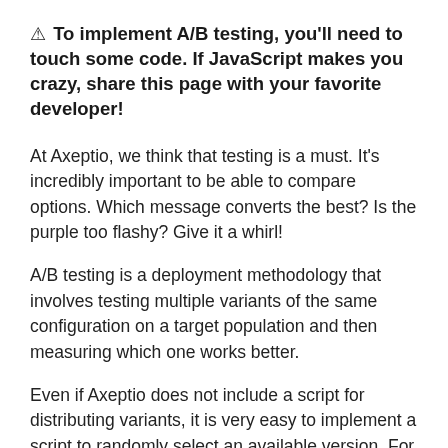⚠ To implement A/B testing, you'll need to touch some code. If JavaScript makes you crazy, share this page with your favorite developer!
At Axeptio, we think that testing is a must. It's incredibly important to be able to compare options. Which message converts the best? Is the purple too flashy? Give it a whirl!
A/B testing is a deployment methodology that involves testing multiple variants of the same configuration on a target population and then measuring which one works better.
Even if Axeptio does not include a script for distributing variants, it is very easy to implement a script to randomly select an available version. For the A/B testing to work properly, you'll need to store the version displayed to the